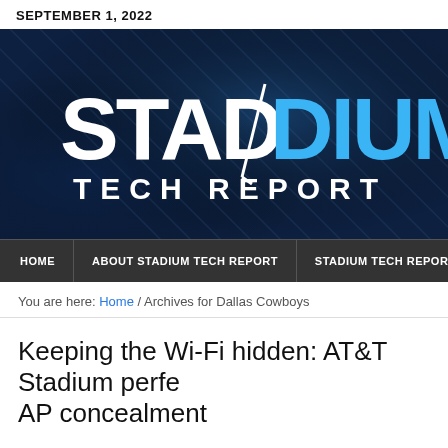SEPTEMBER 1, 2022
[Figure (logo): Stadium Tech Report logo on dark blue textured background. 'STAD' in white bold letters, 'DIUM' in light blue bold letters, with 'TECH REPORT' below in white spaced capitals.]
HOME | ABOUT STADIUM TECH REPORT | STADIUM TECH REPORT PODC
You are here: Home / Archives for Dallas Cowboys
Keeping the Wi-Fi hidden: AT&T Stadium perfe AP concealment